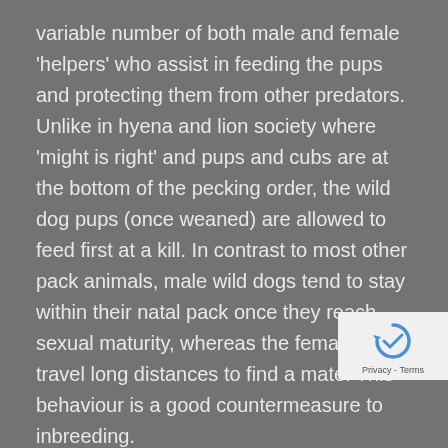variable number of both male and female 'helpers' who assist in feeding the pups and protecting them from other predators. Unlike in hyena and lion society where 'might is right' and pups and cubs are at the bottom of the pecking order, the wild dog pups (once weaned) are allowed to feed first at a kill. In contrast to most other pack animals, male wild dogs tend to stay within their natal pack once they reach sexual maturity, whereas the females will travel long distances to find a mate. This behaviour is a good countermeasure to inbreeding.
Wild dogs are nomadic animals and can traverse 50km in a single day. As a result, their territories may range anywhere from 400 to 1 500 square kilometres. The time that they remain in one area is during their three month denning period. It is this itinerant lifestyle and the